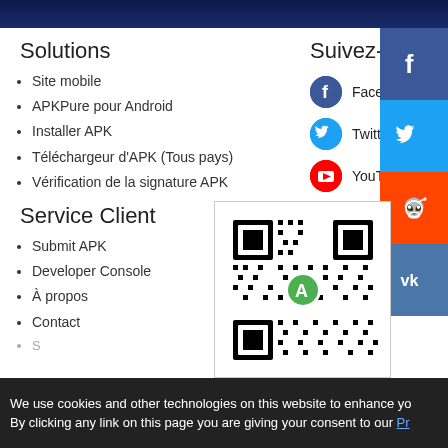Solutions
Site mobile
APKPure pour Android
Installer APK
Téléchargeur d'APK (Tous pays)
Vérification de la signature APK
Service Client
Submit APK
Developer Console
À propos
Contact
Suivez-nous
Facebook
Twitter
YouTube
[Figure (screenshot): QR code with APKPure logo in center]
We use cookies and other technologies on this website to enhance yo By clicking any link on this page you are giving your consent to our Pr